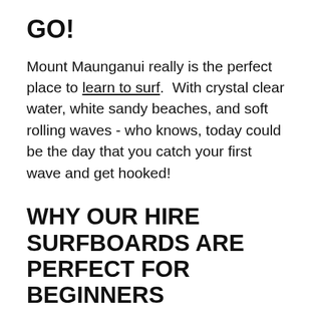GO!
Mount Maunganui really is the perfect place to learn to surf.  With crystal clear water, white sandy beaches, and soft rolling waves - who knows, today could be the day that you catch your first wave and get hooked!
WHY OUR HIRE SURFBOARDS ARE PERFECT FOR BEGINNERS
First up, all of the boards we hire out are made of foam - and that means not only